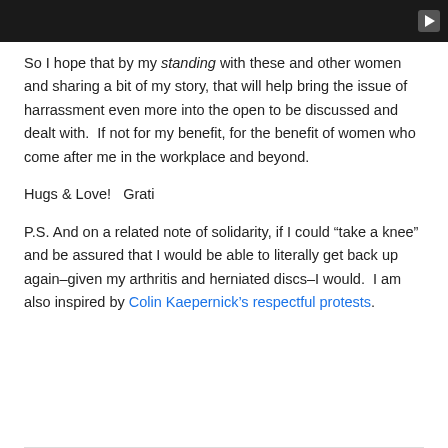[Figure (screenshot): Dark video player bar with play button icon in top right corner]
So I hope that by my standing with these and other women and sharing a bit of my story, that will help bring the issue of harrassment even more into the open to be discussed and dealt with.  If not for my benefit, for the benefit of women who come after me in the workplace and beyond.
Hugs & Love!   Grati
P.S. And on a related note of solidarity, if I could “take a knee” and be assured that I would be able to literally get back up again–given my arthritis and herniated discs–I would.  I am also inspired by Colin Kaepernick’s respectful protests.